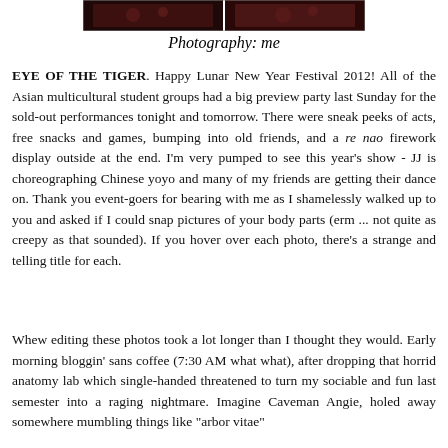[Figure (photo): Partial view of a photo strip showing people at an event, dark red/maroon tones]
Photography: me
EYE OF THE TIGER. Happy Lunar New Year Festival 2012! All of the Asian multicultural student groups had a big preview party last Sunday for the sold-out performances tonight and tomorrow. There were sneak peeks of acts, free snacks and games, bumping into old friends, and a re nao firework display outside at the end. I'm very pumped to see this year's show - JJ is choreographing Chinese yoyo and many of my friends are getting their dance on. Thank you event-goers for bearing with me as I shamelessly walked up to you and asked if I could snap pictures of your body parts (erm ... not quite as creepy as that sounded). If you hover over each photo, there's a strange and telling title for each.
Whew editing these photos took a lot longer than I thought they would. Early morning bloggin' sans coffee (7:30 AM what what), after dropping that horrid anatomy lab which single-handed threatened to turn my sociable and fun last semester into a raging nightmare. Imagine Caveman Angie, holed away somewhere mumbling things like "arbor vitae"